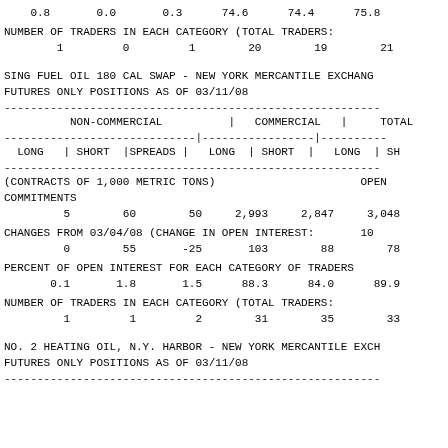0.8    0.0    0.3    74.6    74.4    75.8
NUMBER OF TRADERS IN EACH CATEGORY (TOTAL TRADERS:
1    0    1    20    19    21
SING FUEL OIL 180 CAL SWAP - NEW YORK MERCANTILE EXCHANGE FUTURES ONLY POSITIONS AS OF 03/11/08
| NON-COMMERCIAL (LONG, SHORT, SPREADS) | COMMERCIAL (LONG, SHORT) | TOTAL (LONG, SH...) |
| --- | --- | --- |
| (CONTRACTS OF 1,000 METRIC TONS) |  | OPEN |
| COMMITMENTS |  |  |
| 5 | 60 | 50 | 2,993 | 2,847 | 3,048 |
| CHANGES FROM 03/04/08 (CHANGE IN OPEN INTEREST: |  | 10 |
| 0 | 55 | -25 | 103 | 88 | 78 |
| PERCENT OF OPEN INTEREST FOR EACH CATEGORY OF TRADERS |  |  |
| 0.1 | 1.8 | 1.5 | 88.3 | 84.0 | 89.9 |
| NUMBER OF TRADERS IN EACH CATEGORY (TOTAL TRADERS: |  |  |
| 1 | 1 | 2 | 31 | 35 | 33 |
NO. 2 HEATING OIL, N.Y. HARBOR - NEW YORK MERCANTILE EXCHANGE FUTURES ONLY POSITIONS AS OF 03/11/08